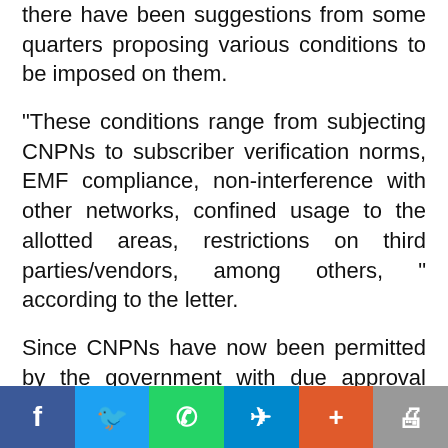there have been suggestions from some quarters proposing various conditions to be imposed on them.
"These conditions range from subjecting CNPNs to subscriber verification norms, EMF compliance, non-interference with other networks, confined usage to the allotted areas, restrictions on third parties/vendors, among others, " according to the letter.
Since CNPNs have now been permitted by the government with due approval from the Cabinet, "there seems to be an attempt now to dilute the terms of reference by seeking the inclusion of